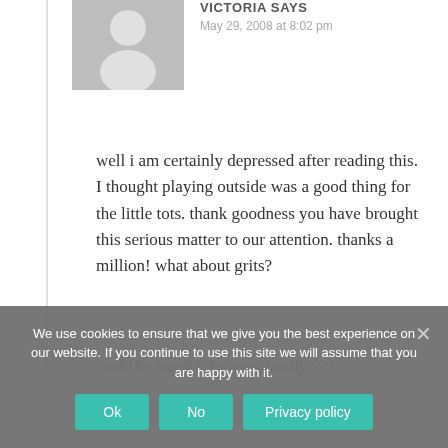[Figure (illustration): Default gray avatar placeholder image showing silhouette of a person]
VICTORIA SAYS
May 29, 2008 at 8:02 pm
well i am certainly depressed after reading this. I thought playing outside was a good thing for the little tots. thank goodness you have brought this serious matter to our attention. thanks a million! what about grits?
We use cookies to ensure that we give you the best experience on our website. If you continue to use this site we will assume that you are happy with it.